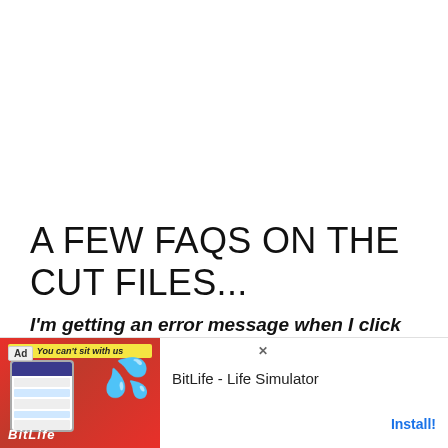A FEW FAQS ON THE CUT FILES...
I'm getting an error message when I click the .Studio3 file and it won't open.
Yep, that's because your computer doesn't know what program to use to open it. To open it, you need... to File>...ton
[Figure (screenshot): Advertisement overlay for BitLife - Life Simulator app showing ad badge, phone mockup, sperm icon graphic on red background, app name and Install button]